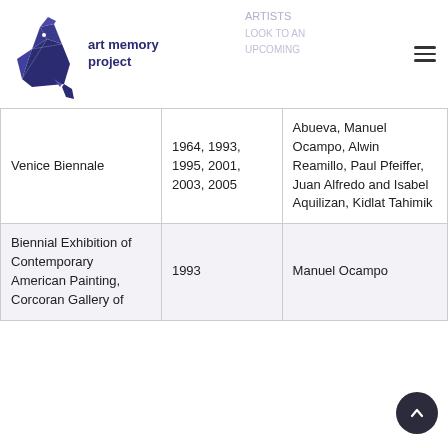art memory project
| Event | Year | Artist |
| --- | --- | --- |
| Venice Biennale | 1964, 1993, 1995, 2001, 2003, 2005 | Abueva, Manuel Ocampo, Alwin Reamillo, Paul Pfeiffer, Juan Alfredo and Isabel Aquilizan, Kidlat Tahimik |
| Biennial Exhibition of Contemporary American Painting, Corcoran Gallery of | 1993 | Manuel Ocampo |